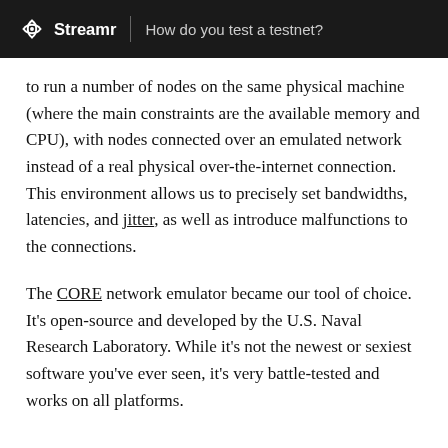Streamr — How do you test a testnet?
to run a number of nodes on the same physical machine (where the main constraints are the available memory and CPU), with nodes connected over an emulated network instead of a real physical over-the-internet connection. This environment allows us to precisely set bandwidths, latencies, and jitter, as well as introduce malfunctions to the connections.
The CORE network emulator became our tool of choice. It's open-source and developed by the U.S. Naval Research Laboratory. While it's not the newest or sexiest software you've ever seen, it's very battle-tested and works on all platforms.